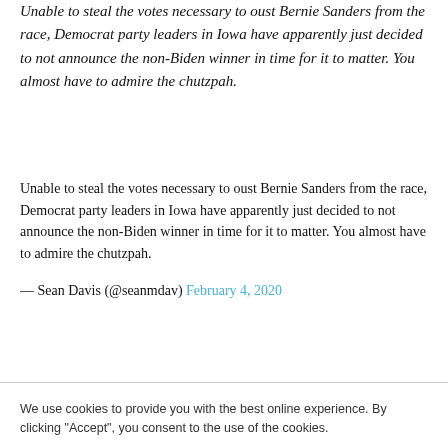Unable to steal the votes necessary to oust Bernie Sanders from the race, Democrat party leaders in Iowa have apparently just decided to not announce the non-Biden winner in time for it to matter. You almost have to admire the chutzpah.
Unable to steal the votes necessary to oust Bernie Sanders from the race, Democrat party leaders in Iowa have apparently just decided to not announce the non-Biden winner in time for it to matter. You almost have to admire the chutzpah.
— Sean Davis (@seanmdav) February 4, 2020
We use cookies to provide you with the best online experience. By clicking "Accept", you consent to the use of the cookies.